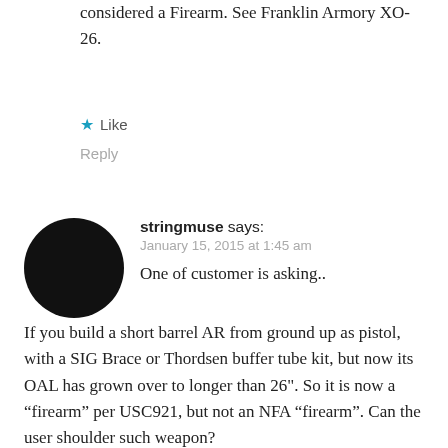considered a Firearm. See Franklin Armory XO-26.
★ Like
Reply
[Figure (illustration): Black circular avatar silhouette for user stringmuse]
stringmuse says:
January 15, 2015 at 1:45 am
One of customer is asking..
If you build a short barrel AR from ground up as pistol, with a SIG Brace or Thordsen buffer tube kit, but now its OAL has grown over to longer than 26". So it is now a “firearm” per USC921, but not an NFA “firearm”. Can the user shoulder such weapon?